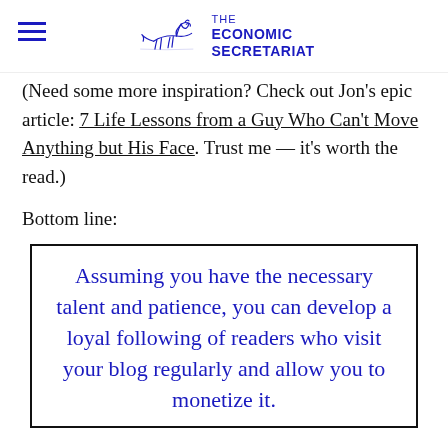THE ECONOMIC SECRETARIAT
(Need some more inspiration? Check out Jon’s epic article: 7 Life Lessons from a Guy Who Can’t Move Anything but His Face. Trust me — it’s worth the read.)
Bottom line:
Assuming you have the necessary talent and patience, you can develop a loyal following of readers who visit your blog regularly and allow you to monetize it.